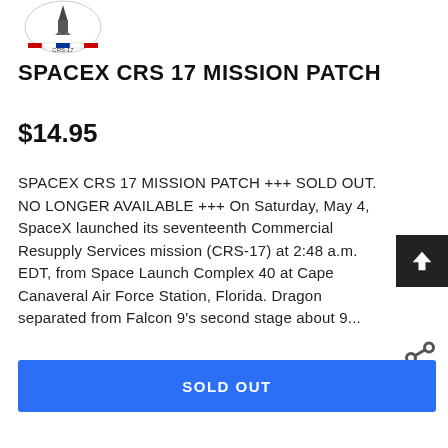[Figure (logo): SpaceX CRS-17 mission patch logo, circular badge with rocket and striped design, text CRS-17 at bottom]
SPACEX CRS 17 MISSION PATCH
$14.95
SPACEX CRS 17 MISSION PATCH +++ SOLD OUT.  NO LONGER AVAILABLE +++ On Saturday, May 4, SpaceX launched its seventeenth Commercial Resupply Services mission (CRS-17) at 2:48 a.m. EDT, from Space Launch Complex 40 at Cape Canaveral Air Force Station, Florida. Dragon separated from Falcon 9's second stage about 9...
SOLD OUT
Subcribe To Back In Stock Notification